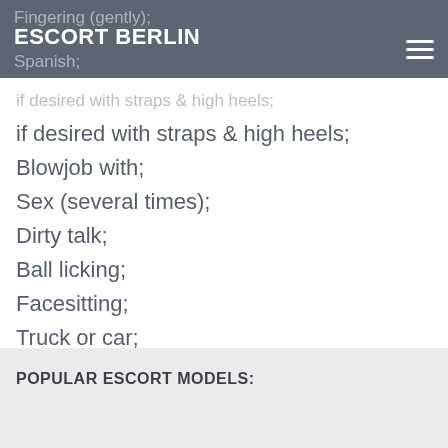ESCORT BERLIN
Fingering (gently);
Spanish;
if desired with straps & high heels;
Blowjob with;
Sex (several times);
Dirty talk;
Ball licking;
Facesitting;
Truck or car;
POPULAR ESCORT MODELS: